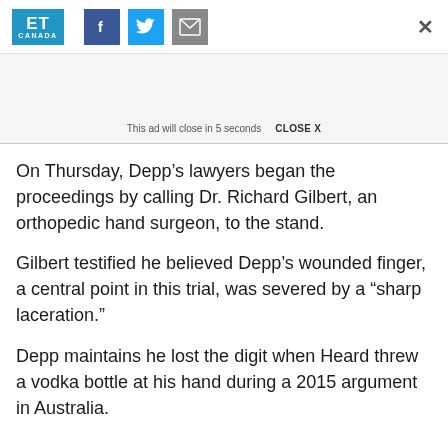ET Canada | f | Twitter | mail | X
This ad will close in 5 seconds   CLOSE X
On Thursday, Depp’s lawyers began the proceedings by calling Dr. Richard Gilbert, an orthopedic hand surgeon, to the stand.
Gilbert testified he believed Depp’s wounded finger, a central point in this trial, was severed by a “sharp laceration.”
Depp maintains he lost the digit when Heard threw a vodka bottle at his hand during a 2015 argument in Australia.